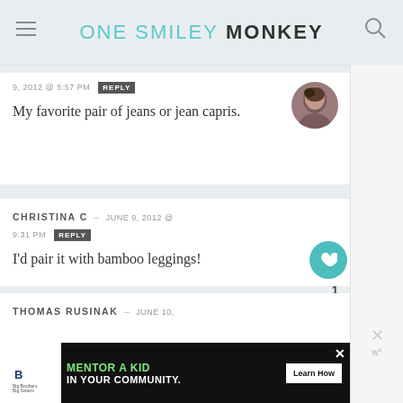ONE SMILEY MONKEY
9, 2012 @ 5:57 PM
My favorite pair of jeans or jean capris.
CHRISTINA C – JUNE 9, 2012 @ 9:31 PM
I'd pair it with bamboo leggings!
THOMAS RUSINAK – JUNE 10,
MENTOR A KID IN YOUR COMMUNITY. Learn How